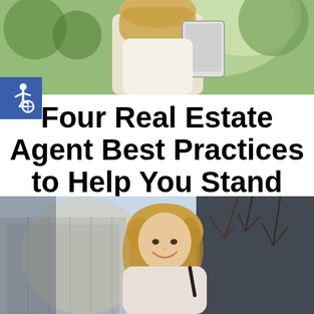[Figure (photo): Woman with blonde hair holding a tablet/clipboard outdoors, upper portion cropped photo]
[Figure (infographic): Blue square with white accessibility wheelchair icon]
Four Real Estate Agent Best Practices to Help You Stand Out
[Figure (photo): Smiling blonde woman outdoors near a building with bare trees, looking upward, holding a pen]